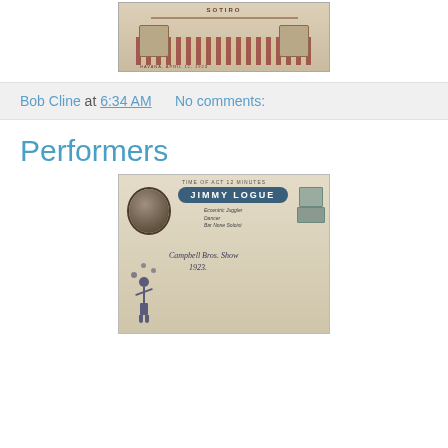[Figure (photo): Vintage circus or show advertisement image — appears to be a historical promotional poster with a checkered floor design and the word SOTIRO visible at top]
Bob Cline at 6:34 AM    No comments:
Performers
[Figure (photo): Vintage performer advertisement card for Jimmy Logue — Eccentric Juggler, Dancer, and Bar None Soloist. Shows portrait of a man, decorative circus lettering, juggling figure, and handwritten text: Campbell Bros. Show, 1923. TIME OF ACT 12 MINUTES noted at top.]